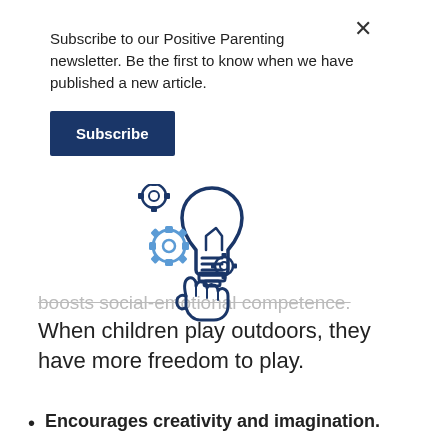Subscribe to our Positive Parenting newsletter. Be the first to know when we have published a new article.
Subscribe
boosts social-emotional competence. When children play outdoors, they have more freedom to play.
[Figure (illustration): Hand holding a glowing light bulb with gear/cog icons around it, illustrating creativity and ideas, drawn in dark blue outline style]
Encourages creativity and imagination.